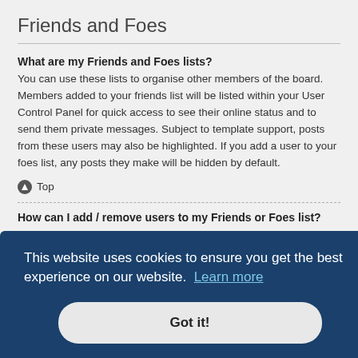Friends and Foes
What are my Friends and Foes lists?
You can use these lists to organise other members of the board. Members added to your friends list will be listed within your User Control Panel for quick access to see their online status and to send them private messages. Subject to template support, posts from these users may also be highlighted. If you add a user to your foes list, any posts they make will be hidden by default.
Top
How can I add / remove users to my Friends or Foes list?
You can add users to your list in two ways. Within each user's profile, there is a link to add them to either your Friend or Foe list. Alternatively, from your User Control Panel, you can directly add users by entering their member name. You
opic pages. Advanced Search can be accessed by clicking the "Advance Search" link which is available on all pages on the forum. How to access the search
This website uses cookies to ensure you get the best experience on our website. Learn more
Got it!